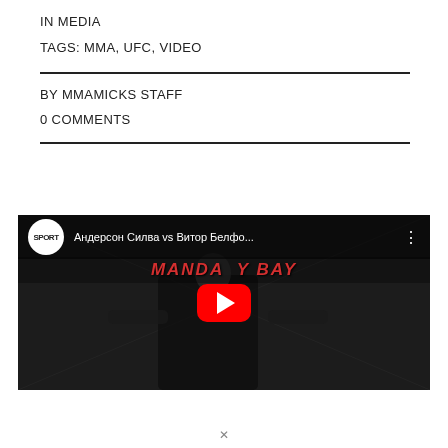IN MEDIA
TAGS: MMA, UFC, VIDEO
BY MMAMICKS STAFF
0 COMMENTS
[Figure (screenshot): YouTube video thumbnail showing a UFC fighter (Anderson Silva) standing in the octagon with Mandalay Bay text overlay. Title reads: Андерсон Силва vs Витор Белфо... with YouTube play button in center.]